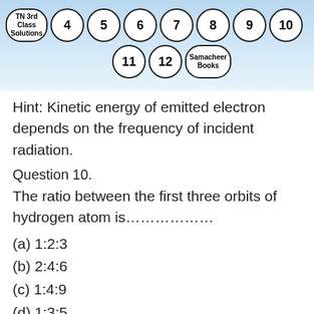TN 3rd Class Solutions  4  5  6  7  8  9  10  11  12  Samacheer Books
Hint: Kinetic energy of emitted electron depends on the frequency of incident radiation.
Question 10.
The ratio between the first three orbits of hydrogen atom is………………
(a) 1:2:3
(b) 2:4:6
(c) 1:4:9
(d) 1:3:5
Answer:
(c) 1:4:9